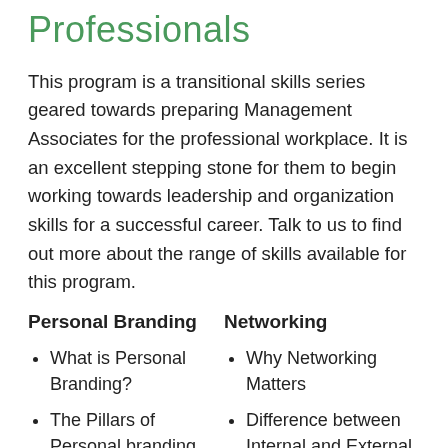Professionals
This program is a transitional skills series geared towards preparing Management Associates for the professional workplace. It is an excellent stepping stone for them to begin working towards leadership and organization skills for a successful career. Talk to us to find out more about the range of skills available for this program.
Personal Branding
Networking
What is Personal Branding?
The Pillars of Personal branding
Why Networking Matters
Difference between Internal and External